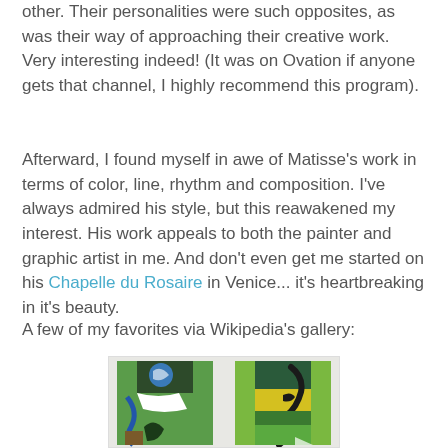other. Their personalities were such opposites, as was their way of approaching their creative work. Very interesting indeed! (It was on Ovation if anyone gets that channel, I highly recommend this program).
Afterward, I found myself in awe of Matisse's work in terms of color, line, rhythm and composition. I've always admired his style, but this reawakened my interest. His work appeals to both the painter and graphic artist in me. And don't even get me started on his Chapelle du Rosaire in Venice... it's heartbreaking in it's beauty.
A few of my favorites via Wikipedia's gallery:
[Figure (illustration): Two tall vertical panels showing Matisse-style artwork with green, blue, yellow abstract forms and plant-like shapes on a light background.]